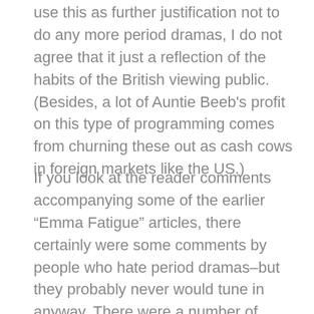use this as further justification not to do any more period dramas, I do not agree that it just a reflection of the habits of the British viewing public. (Besides, a lot of Auntie Beeb's profit on this type of programming comes from churning these out as cash cows in foreign markets like the US.)
If you look at the reader comments accompanying some of the earlier “Emma Fatigue” articles, there certainly were some comments by people who hate period dramas–but they probably never would tune in anyway. There were a number of comments from people who are tired of seeing the same